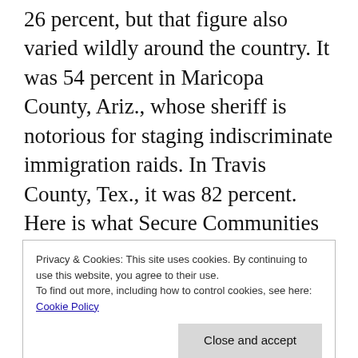26 percent, but that figure also varied wildly around the country. It was 54 percent in Maricopa County, Ariz., whose sheriff is notorious for staging indiscriminate immigration raids. In Travis County, Tex., it was 82 percent. Here is what Secure Communities program will do: its purpose is to enable a a greater scope of action to arrest, detain, and direct the movements of migrants and non-whites (by holding them for ICE to scoop them up and take them to holding
Privacy & Cookies: This site uses cookies. By continuing to use this website, you agree to their use.
To find out more, including how to control cookies, see here:
Cookie Policy
munisipal, state, or federal authorities when it